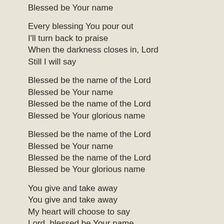Blessed be Your name
Every blessing You pour out
I'll turn back to praise
When the darkness closes in, Lord
Still I will say
Blessed be the name of the Lord
Blessed be Your name
Blessed be the name of the Lord
Blessed be Your glorious name
Blessed be the name of the Lord
Blessed be Your name
Blessed be the name of the Lord
Blessed be Your glorious name
You give and take away
You give and take away
My heart will choose to say
Lord, blessed be Your name